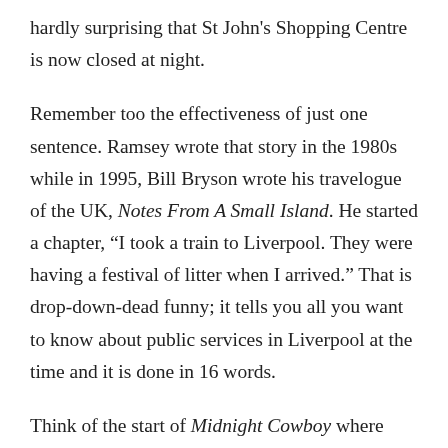hardly surprising that St John's Shopping Centre is now closed at night.
Remember too the effectiveness of just one sentence. Ramsey wrote that story in the 1980s while in 1995, Bill Bryson wrote his travelogue of the UK, Notes From A Small Island. He started a chapter, “I took a train to Liverpool. They were having a festival of litter when I arrived.” That is drop-down-dead funny; it tells you all you want to know about public services in Liverpool at the time and it is done in 16 words.
Think of the start of Midnight Cowboy where people are bustling down a crowded New York street. They are too preoccupied to notice somebody has died on the pavement.